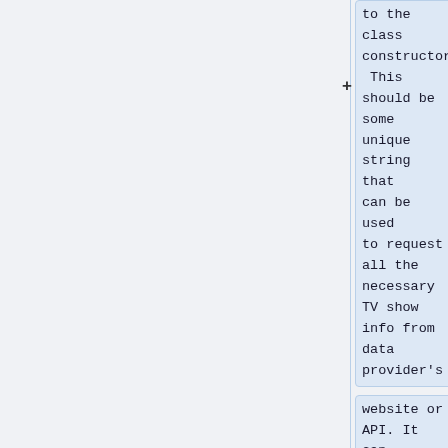to the class constructor. This should be some unique string that can be used to request all the necessary TV show info from data provider's
website or API. It can be, for example, a link to a TV show